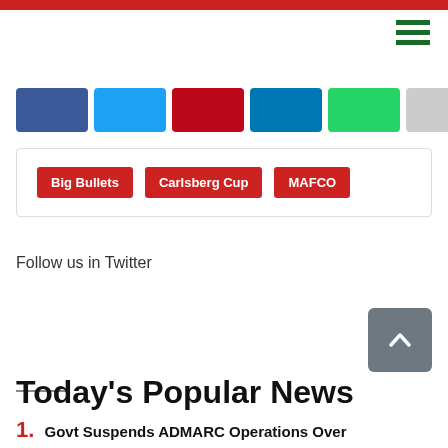Red top bar and hamburger menu
[Figure (other): Social share buttons row: Facebook, Twitter, Pinterest, LinkedIn, WhatsApp, grey share button, and SHARES label]
Big Bullets | Carlsberg Cup | MAFCO
Follow us in Twitter
[Figure (other): Back to top button (grey rounded square with upward chevron)]
Today's Popular News
1. Govt Suspends ADMARC Operations Over Corruption, Internal Wrangles